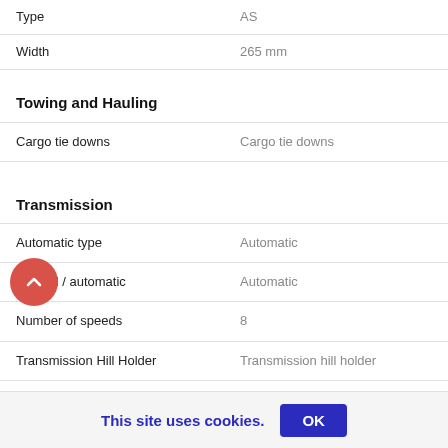| Feature | Value |
| --- | --- |
| Type | AS |
| Width | 265 mm |
| Towing and Hauling |  |
| Cargo tie downs | Cargo tie downs |
| Transmission |  |
| Automatic type | Automatic |
| Manual / automatic | Automatic |
| Number of speeds | 8 |
| Transmission Hill Holder | Transmission hill holder |
| Truck Features |  |
| Bumpers | Body-coloured |
|  | Side impact door... |
This site uses cookies.  OK